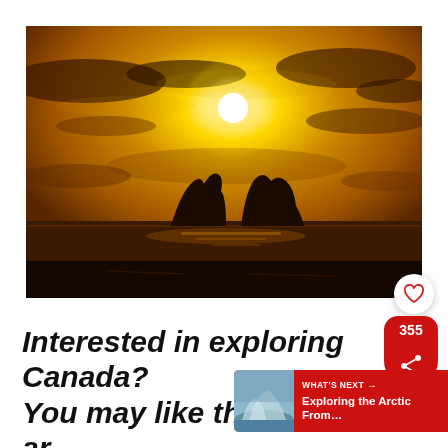[Figure (photo): Arctic sunset photo showing dark silhouettes of icebergs on a calm sea with a brilliant golden-orange sky and bright white sun overhead, dramatic clouds lit in amber and gold tones.]
Interested in exploring Canada? You may like these other articles too: